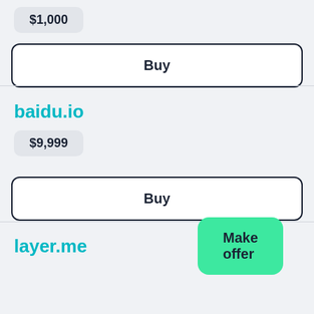$1,000
Buy
baidu.io
$9,999
Buy
layer.me
Make offer